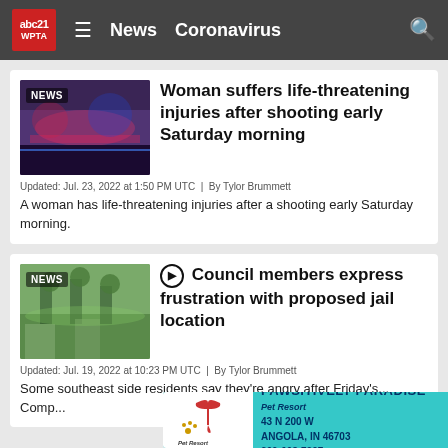abc21 WPTA | News | Coronavirus
Woman suffers life-threatening injuries after shooting early Saturday morning
Updated: Jul. 23, 2022 at 1:50 PM UTC  |  By Tylor Brummett
A woman has life-threatening injuries after a shooting early Saturday morning.
Council members express frustration with proposed jail location
Updated: Jul. 19, 2022 at 10:23 PM UTC  |  By Tylor Brummett
Some southeast side residents say they're angry after Friday's... Comp...
[Figure (screenshot): Ad banner for Pawsitively Paradise Pet Resort, 43 N 200 W Angola, IN 46703, 260-668-7297]